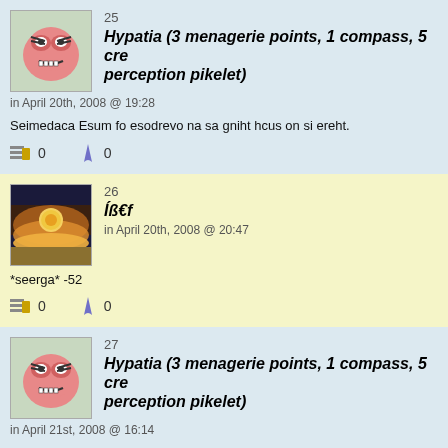25
Hypatia (3 menagerie points, 1 compass, 5 cre perception pikelet)
in April 20th, 2008 @ 19:28
Seimedaca Esum fo esodrevo na sa gniht hcus on si ereht.
0   0
26
ÍÃ€f
in April 20th, 2008 @ 20:47
*seerga* -52
0   0
27
Hypatia (3 menagerie points, 1 compass, 5 cre perception pikelet)
in April 21st, 2008 @ 16:14
Noisiver ot nepo era yeht, lavorpasid ot tcejbus eb yeht dluohs tub, smret eht gni Tcartnoc gniwollof eht revo kool esaelp, Sdrawkcab Ymedaca Esum elbatuper eh
Because of their being quintessential, I have chosen to print, for the benefit of th